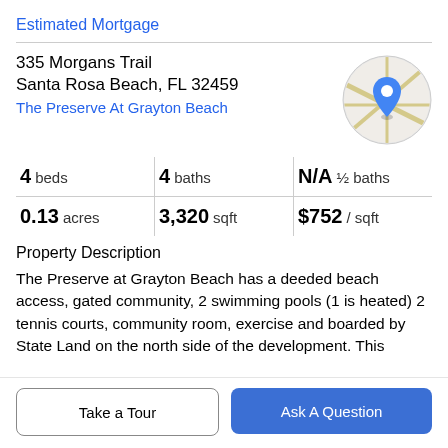Estimated Mortgage
335 Morgans Trail
Santa Rosa Beach, FL 32459
The Preserve At Grayton Beach
[Figure (map): Circular map thumbnail showing street map with blue location pin marker]
4 beds | 4 baths | N/A ½ baths
0.13 acres | 3,320 sqft | $752 / sqft
Property Description
The Preserve at Grayton Beach has a deeded beach access, gated community, 2 swimming pools (1 is heated) 2 tennis courts, community room, exercise and boarded by State Land on the north side of the development. This spacious 4 bedroom, 4 bath home has many updates
Take a Tour
Ask A Question